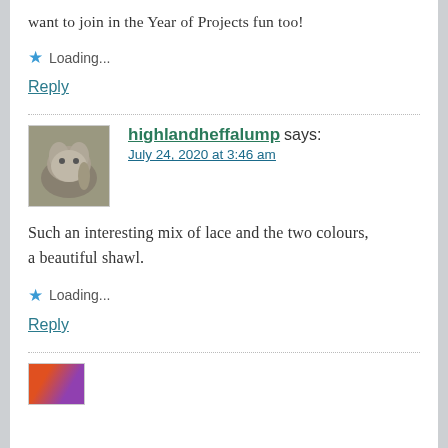want to join in the Year of Projects fun too!
Loading...
Reply
highlandheffalump says:
July 24, 2020 at 3:46 am
Such an interesting mix of lace and the two colours, a beautiful shawl.
Loading...
Reply
[Figure (photo): Avatar thumbnail of a baby elephant]